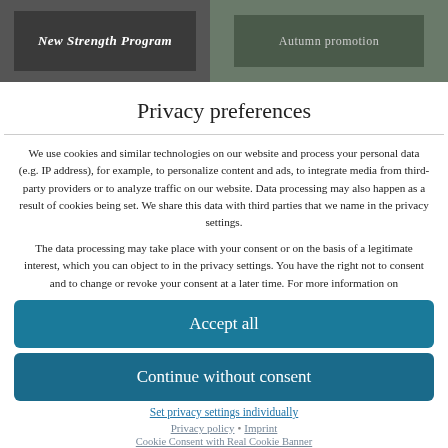[Figure (screenshot): Two blurred thumbnail images side by side at the top of the page — left shows text overlay on dark background, right shows a darker green/grey background with faint text]
Privacy preferences
We use cookies and similar technologies on our website and process your personal data (e.g. IP address), for example, to personalize content and ads, to integrate media from third-party providers or to analyze traffic on our website. Data processing may also happen as a result of cookies being set. We share this data with third parties that we name in the privacy settings.
The data processing may take place with your consent or on the basis of a legitimate interest, which you can object to in the privacy settings. You have the right not to consent and to change or revoke your consent at a later time. For more information on
Accept all
Continue without consent
Set privacy settings individually
Privacy policy • Imprint
Cookie Consent with Real Cookie Banner